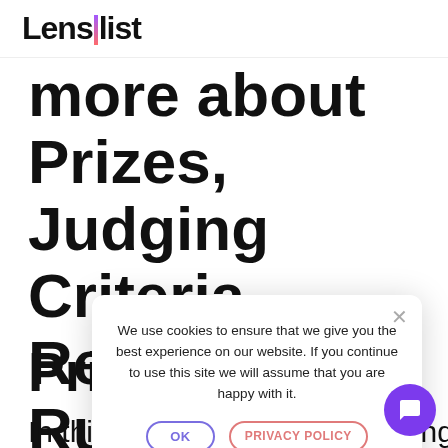Lenslist
more about Prizes, Judging Criteria, Resources, Rules and FAQ 🏆
Pri...
In thi...
We use cookies to ensure that we give you the best experience on our website. If you continue to use this site we will assume that you are happy with it.